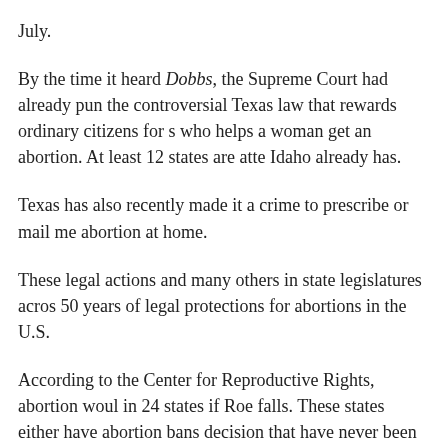July.
By the time it heard Dobbs, the Supreme Court had already pun the controversial Texas law that rewards ordinary citizens for s who helps a woman get an abortion. At least 12 states are atte Idaho already has.
Texas has also recently made it a crime to prescribe or mail me abortion at home.
These legal actions and many others in state legislatures acros 50 years of legal protections for abortions in the U.S.
According to the Center for Reproductive Rights, abortion woul in 24 states if Roe falls. These states either have abortion bans decision that have never been taken off the books, or have sinc laws that would be enforced if the Supreme Court overturns Ro
To understand the wide-ranging impacts that banning abortio